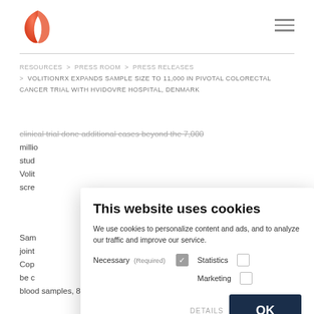[Figure (logo): VolitionRx leaf/flame logo in red-orange gradient]
RESOURCES  >  PRESS ROOM  >  PRESS RELEASES  >  VOLITIONRX EXPANDS SAMPLE SIZE TO 11,000 IN PIVOTAL COLORECTAL CANCER TRIAL WITH HVIDOVRE HOSPITAL, DENMARK
clinical trial done additional cases beyond the 7,000 million study Volition screen
Samuel joint Cop be c blood samples, 8,000 individuals receiving a positive
This website uses cookies
We use cookies to personalize content and ads, and to analyze our traffic and improve our service.
Necessary (Required) [checked] Statistics [ ] Marketing [ ]
DETAILS  OK